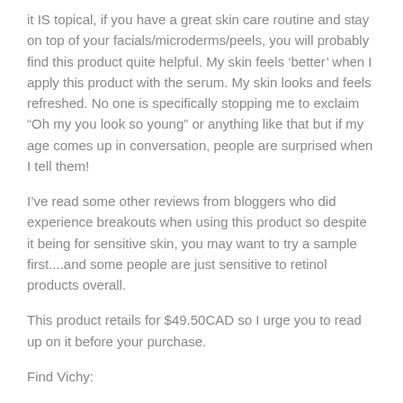it IS topical, if you have a great skin care routine and stay on top of your facials/microderms/peels, you will probably find this product quite helpful.  My skin feels ‘better’ when I apply this product with the serum.  My skin looks and feels refreshed.  No one is specifically stopping me to exclaim “Oh my you look so young” or anything like that but if my age comes up in conversation, people are surprised when I tell them!
I’ve read some other reviews from bloggers who did experience breakouts when using this product so despite it being for sensitive skin, you may want to try a sample first....and some people are just sensitive to retinol products overall.
This product retails for $49.50CAD so I urge you to read up on it before your purchase.
Find Vichy: